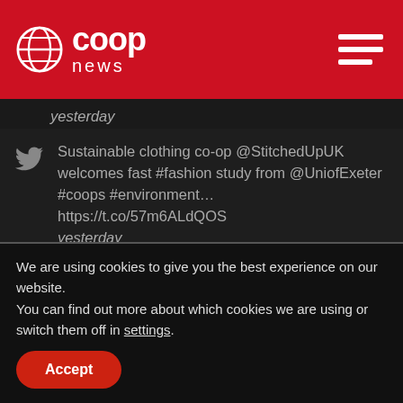Co-op News
yesterday
Sustainable clothing co-op @StitchedUpUK welcomes fast #fashion study from @UniofExeter #coops #environment… https://t.co/57m6ALdQOS yesterday
NZ #dairy co-op @Fonterra to install 30-megawatt wood biomass boiler at Waitoa
We are using cookies to give you the best experience on our website.
You can find out more about which cookies we are using or switch them off in settings.